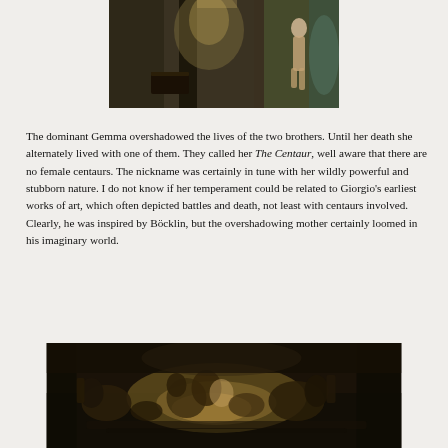[Figure (photo): Partial painting showing a figure near an archway or doorway, with muted dark tones and a standing nude figure to the right side.]
The dominant Gemma overshadowed the lives of the two brothers. Until her death she alternately lived with one of them. They called her The Centaur, well aware that there are no female centaurs. The nickname was certainly in tune with her wildly powerful and stubborn nature. I do not know if her temperament could be related to Giorgio’s earliest works of art, which often depicted battles and death, not least with centaurs involved. Clearly, he was inspired by Böcklin, but the overshadowing mother certainly loomed in his imaginary world.
[Figure (photo): Dark painting depicting a battle or mythological scene with figures of centaurs or similar creatures engaged in conflict, with dramatic lighting.]